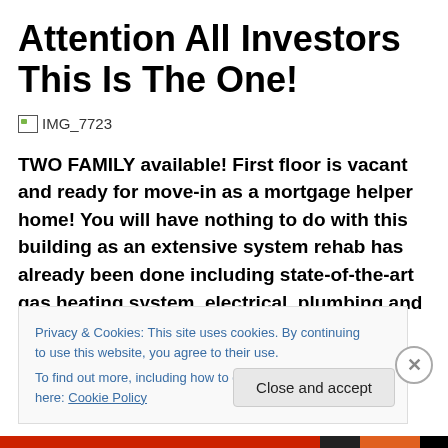Attention All Investors This Is The One!
[Figure (photo): Broken image placeholder labeled IMG_7723]
TWO FAMILY available! First floor is vacant and ready for move-in as a mortgage helper home! You will have nothing to do with this building as an extensive system rehab has already been done including state-of-the-art gas heating system, electrical, plumbing and roof. Two two or three bed units with beautiful
Privacy & Cookies: This site uses cookies. By continuing to use this website, you agree to their use.
To find out more, including how to control cookies, see here: Cookie Policy